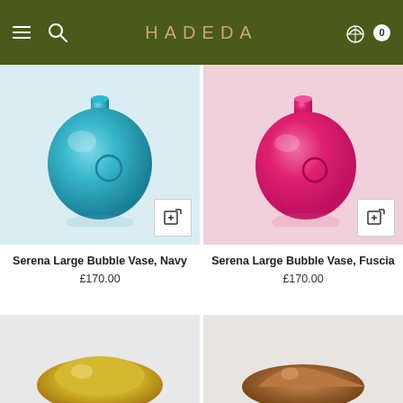HADEDA
[Figure (photo): Serena Large Bubble Vase in Navy (teal/blue) round glass vase on light grey background]
Serena Large Bubble Vase, Navy
£170.00
[Figure (photo): Serena Large Bubble Vase in Fuscia (hot pink) round glass vase on light grey background]
Serena Large Bubble Vase, Fuscia
£170.00
[Figure (photo): Partial view of a product (yellow/green item) at bottom left]
[Figure (photo): Partial view of a product (brown/amber item) at bottom right]